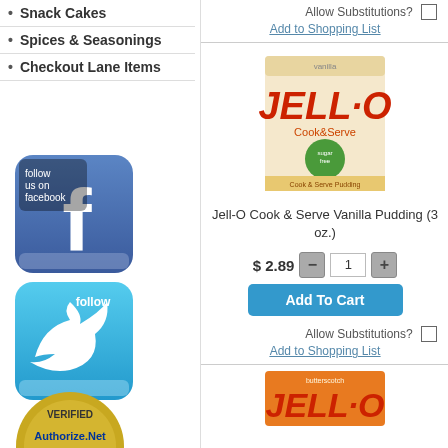Snack Cakes
Spices & Seasonings
Checkout Lane Items
[Figure (logo): Follow us on Facebook button with Facebook logo]
[Figure (logo): Follow on Twitter button with Twitter bird logo]
[Figure (logo): Authorize.Net Verified Merchant Click badge]
[Figure (logo): Gold seal badge (partial, bottom of page)]
Allow Substitutions?
Add to Shopping List
[Figure (photo): Jell-O Cook & Serve Vanilla Pudding box (3 oz.)]
Jell-O Cook & Serve Vanilla Pudding (3 oz.)
$ 2.89
Add To Cart
Allow Substitutions?
Add to Shopping List
[Figure (photo): Jell-O Butterscotch pudding box (partial, bottom of page)]